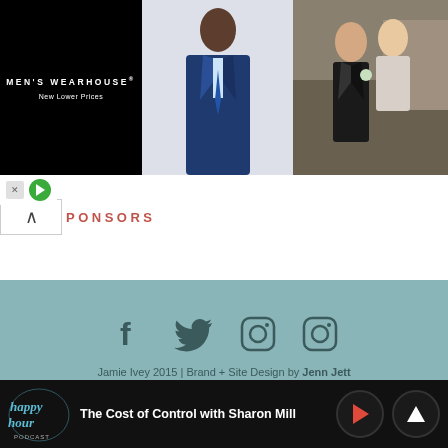[Figure (screenshot): Men's Wearhouse advertisement banner showing man in blue suit and couple in formal wear, black background with logo 'MEN'S WEARHOUSE New Lower Prices']
SPONSORS
[Figure (screenshot): Website footer with teal/sage background showing social media icons (Facebook, Twitter, Instagram x2) and copyright text: Jamie Ivey 2015 | Brand + Site Design by Jenn Jett Creative]
Jamie Ivey 2015 | Brand + Site Design by Jenn Jett Creative
[Figure (screenshot): Sticky audio player at bottom showing 'The Cost of Control with Sharon Mill' with Happy Hour podcast logo and play/up buttons]